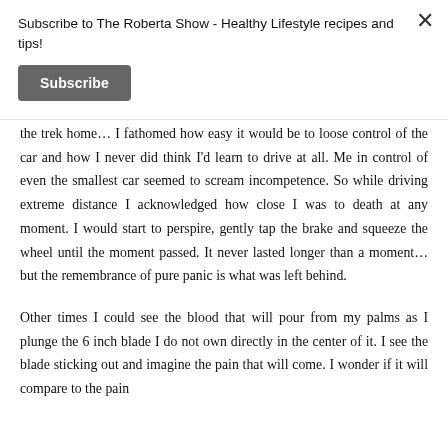Subscribe to The Roberta Show - Healthy Lifestyle recipes and tips!
Subscribe
the trek home… I fathomed how easy it would be to loose control of the car and how I never did think I'd learn to drive at all. Me in control of even the smallest car seemed to scream incompetence. So while driving extreme distance I acknowledged how close I was to death at any moment. I would start to perspire, gently tap the brake and squeeze the wheel until the moment passed. It never lasted longer than a moment… but the remembrance of pure panic is what was left behind.
Other times I could see the blood that will pour from my palms as I plunge the 6 inch blade I do not own directly in the center of it. I see the blade sticking out and imagine the pain that will come. I wonder if it will compare to the pain